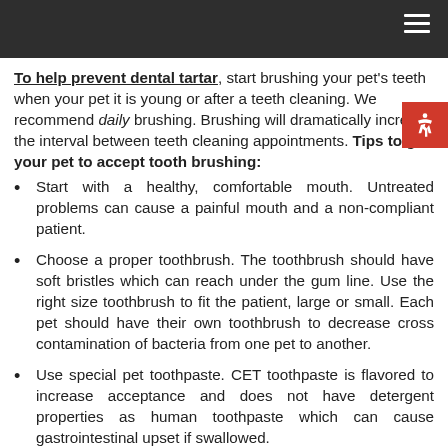To help prevent dental tartar, start brushing your pet's teeth when your pet it is young or after a teeth cleaning. We recommend daily brushing. Brushing will dramatically increase the interval between teeth cleaning appointments. Tips to get your pet to accept tooth brushing:
Start with a healthy, comfortable mouth. Untreated problems can cause a painful mouth and a non-compliant patient.
Choose a proper toothbrush. The toothbrush should have soft bristles which can reach under the gum line. Use the right size toothbrush to fit the patient, large or small. Each pet should have their own toothbrush to decrease cross contamination of bacteria from one pet to another.
Use special pet toothpaste. CET toothpaste is flavored to increase acceptance and does not have detergent properties as human toothpaste which can cause gastrointestinal upset if swallowed.
Brush your pet's teeth when the pet is